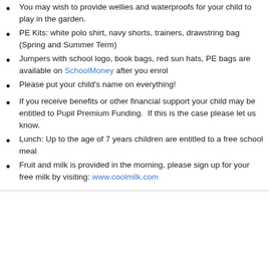You may wish to provide wellies and waterproofs for your child to play in the garden.
PE Kits: white polo shirt, navy shorts, trainers, drawstring bag (Spring and Summer Term)
Jumpers with school logo, book bags, red sun hats, PE bags are available on SchoolMoney after you enrol
Please put your child's name on everything!
If you receive benefits or other financial support your child may be entitled to Pupil Premium Funding.  If this is the case please let us know.
Lunch: Up to the age of 7 years children are entitled to a free school meal
Fruit and milk is provided in the morning, please sign up for your free milk by visiting: www.coolmilk.com